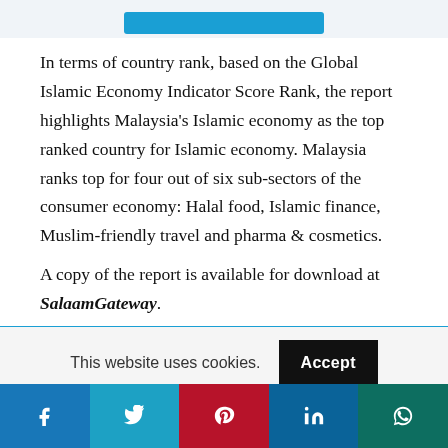[Figure (other): Top decorative area with a blue button/bar element on light background]
In terms of country rank, based on the Global Islamic Economy Indicator Score Rank, the report highlights Malaysia's Islamic economy as the top ranked country for Islamic economy. Malaysia ranks top for four out of six sub-sectors of the consumer economy: Halal food, Islamic finance, Muslim-friendly travel and pharma & cosmetics.
A copy of the report is available for download at SalaamGateway.
This website uses cookies.
[Figure (other): Social media share buttons: Facebook, Twitter, Pinterest, LinkedIn, WhatsApp]